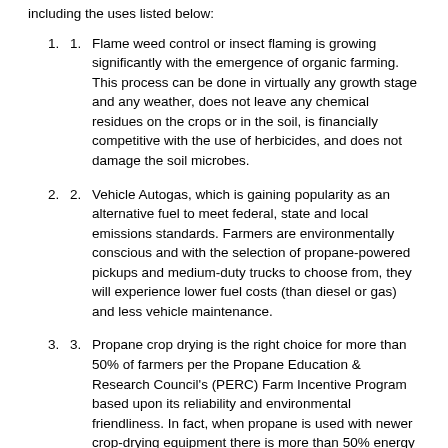including the uses listed below:
Flame weed control or insect flaming is growing significantly with the emergence of organic farming. This process can be done in virtually any growth stage and any weather, does not leave any chemical residues on the crops or in the soil, is financially competitive with the use of herbicides, and does not damage the soil microbes.
Vehicle Autogas, which is gaining popularity as an alternative fuel to meet federal, state and local emissions standards. Farmers are environmentally conscious and with the selection of propane-powered pickups and medium-duty trucks to choose from, they will experience lower fuel costs (than diesel or gas) and less vehicle maintenance.
Propane crop drying is the right choice for more than 50% of farmers per the Propane Education & Research Council's (PERC) Farm Incentive Program based upon its reliability and environmental friendliness. In fact, when propane is used with newer crop-drying equipment there is more than 50% energy savings over the use of older equipment.